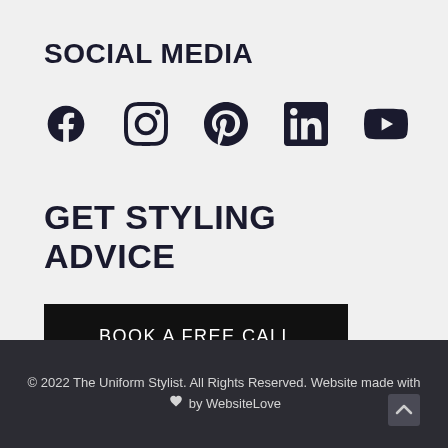SOCIAL MEDIA
[Figure (infographic): Social media icons: Facebook, Instagram, Pinterest, LinkedIn, YouTube]
GET STYLING ADVICE
BOOK A FREE CALL
© 2022 The Uniform Stylist. All Rights Reserved. Website made with ♥ by WebsiteLove